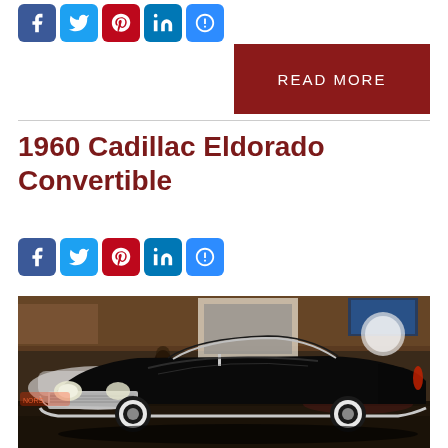[Figure (other): Social media share buttons row: Facebook (blue), Twitter (blue), Pinterest (red), LinkedIn (teal), More (blue)]
[Figure (other): Dark red READ MORE button]
1960 Cadillac Eldorado Convertible
[Figure (other): Social media share buttons row: Facebook (blue), Twitter (blue), Pinterest (red), LinkedIn (teal), More (blue)]
[Figure (photo): Photo of a black 1960 Cadillac Eldorado convertible on display in an automotive showroom or museum, with other classic cars and people visible in the background.]